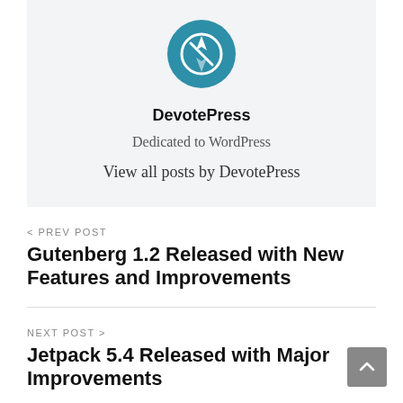[Figure (logo): DevotePress circular logo - teal/blue circle with white compass/navigation icon]
DevotePress
Dedicated to WordPress
View all posts by DevotePress
< PREV POST
Gutenberg 1.2 Released with New Features and Improvements
NEXT POST >
Jetpack 5.4 Released with Major Improvements